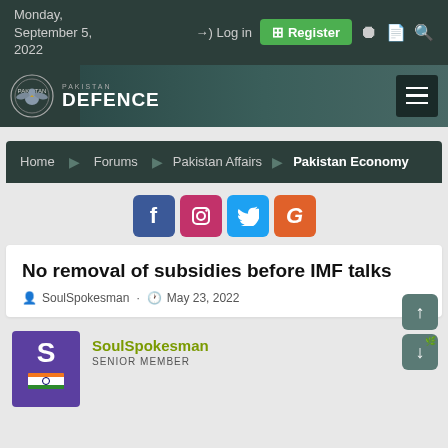Monday, September 5, 2022
[Figure (screenshot): Pakistan Defence website logo with eagle emblem]
Home
Forums
Pakistan Affairs
Pakistan Economy
[Figure (other): Social media buttons: Facebook, Instagram, Twitter, Google]
No removal of subsidies before IMF talks
SoulSpokesman · May 23, 2022
SoulSpokesman
SENIOR MEMBER